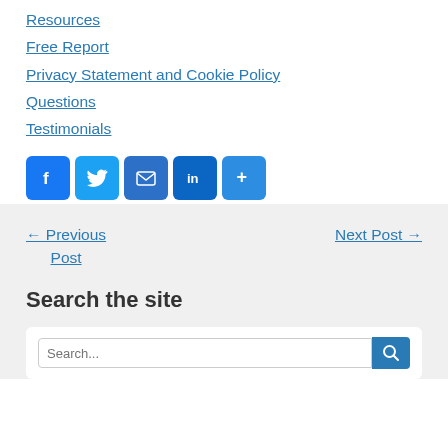Resources
Free Report
Privacy Statement and Cookie Policy
Questions
Testimonials
[Figure (infographic): Social media share icons: Facebook, Twitter, Email, LinkedIn, More (+)]
← Previous Post
Next Post →
Search the site
[Figure (screenshot): Search input box with a blue search button]